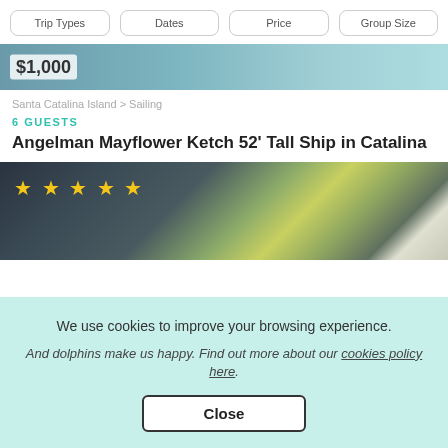Trip Types | Dates | Price | Group Size
$1,000
Santa Catalina Island > Sailing
6 GUESTS
Angelman Mayflower Ketch 52' Tall Ship in Catalina
[Figure (photo): Photo of jet skis and vehicles parked outdoors, with 5 yellow star rating overlay in top left corner]
We use cookies to improve your browsing experience. And dolphins make us happy. Find out more about our cookies policy here.
Close